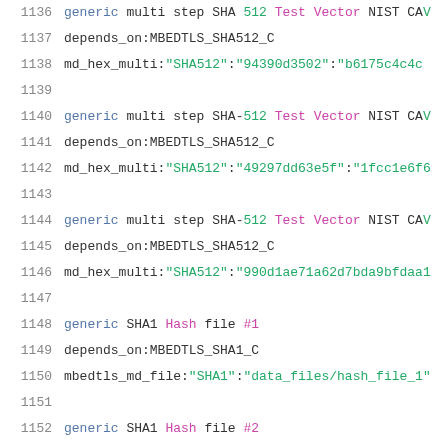1136: generic multi step SHA 512 Test Vector NIST CAV
1137: depends_on:MBEDTLS_SHA512_C
1138: md_hex_multi:"SHA512":"94390d3502":"b6175c4c4c...
1139: (blank)
1140: generic multi step SHA-512 Test Vector NIST CAV
1141: depends_on:MBEDTLS_SHA512_C
1142: md_hex_multi:"SHA512":"49297dd63e5f":"1fcc1e6f6...
1143: (blank)
1144: generic multi step SHA-512 Test Vector NIST CAV
1145: depends_on:MBEDTLS_SHA512_C
1146: md_hex_multi:"SHA512":"990d1ae71a62d7bda9bfdaa1...
1147: (blank)
1148: generic SHA1 Hash file #1
1149: depends_on:MBEDTLS_SHA1_C
1150: mbedtls_md_file:"SHA1":"data_files/hash_file_1"
1151: (blank)
1152: generic SHA1 Hash file #2
1153: depends_on:MBEDTLS_SHA1_C
1154: mbedtls_md_file:"SHA1":"data_files/hash_file_2"
1155: (blank)
1156: generic SHA1 Hash file #3
1157: depends_on:MBEDTLS_SHA1_C